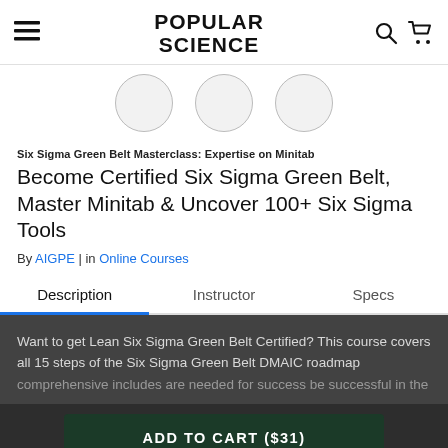POPULAR SCIENCE
[Figure (illustration): Three partial circles/avatars arranged horizontally as a strip below the header]
Six Sigma Green Belt Masterclass: Expertise on Minitab
Become Certified Six Sigma Green Belt, Master Minitab & Uncover 100+ Six Sigma Tools
By AIGPE | in Online Courses
Description | Instructor | Specs
Want to get Lean Six Sigma Green Belt Certified? This course covers all 15 steps of the Six Sigma Green Belt DMAIC roadmap comprehensive includes are needed for success be successful in the
ADD TO CART ($31)